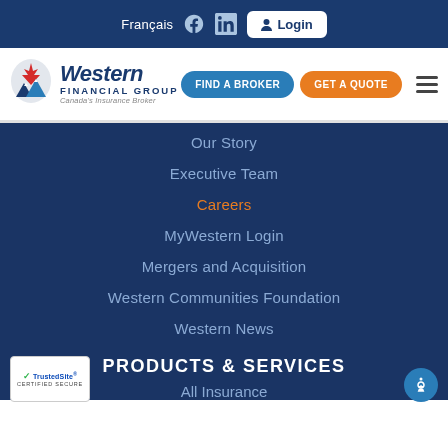Français | Facebook | LinkedIn | Login
[Figure (logo): Western Financial Group logo - Canada's Insurance Broker with mountain/maple leaf icon]
FIND A BROKER
GET A QUOTE
Our Story
Executive Team
Careers
MyWestern Login
Mergers and Acquisition
Western Communities Foundation
Western News
PRODUCTS & SERVICES
All Insurance
[Figure (logo): TrustedSite Certified Secure badge]
[Figure (other): Accessibility icon button (wheelchair symbol in blue circle)]